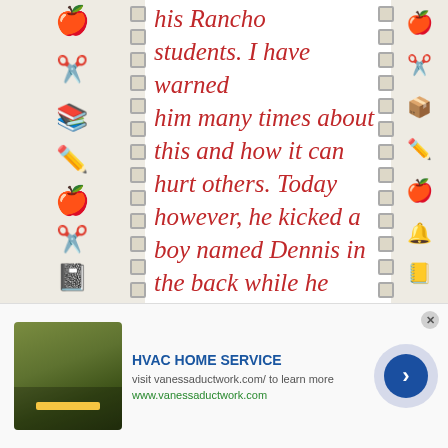[Figure (photo): A page from a school notebook with decorative borders featuring hand-drawn school supply icons (apples, pencils, scissors, books, whisks) on left and right sides, with spiral binding holes. Handwritten text in red marker reads: 'his Rancho students. I have warned him many times about this and how it can hurt others. Today however, he kicked a boy named Dennis in the back while he was getting a drink. He then preceded to lie to me. Johnathan has']
HVAC HOME SERVICE
visit vanessaductwork.com/ to learn more
www.vanessaductwork.com